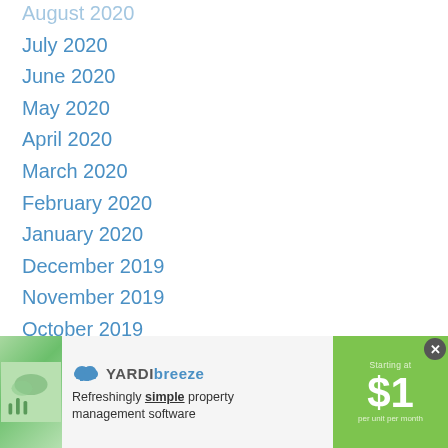August 2020
July 2020
June 2020
May 2020
April 2020
March 2020
February 2020
January 2020
December 2019
November 2019
October 2019
September 2019
August 2019
July 2019
June 2019
May 2019
April 2019
[Figure (screenshot): Yardi Breeze advertisement banner: logo with cloud icon, tagline 'Refreshingly simple property management software', green price box showing Starting at $1 per unit per month]